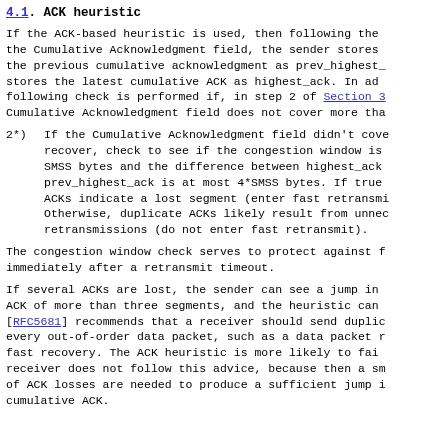4.1.  ACK heuristic
If the ACK-based heuristic is used, then following the the Cumulative Acknowledgment field, the sender stores the previous cumulative acknowledgment as prev_highest_ stores the latest cumulative ACK as highest_ack.  In ad following check is performed if, in step 2 of Section 3 Cumulative Acknowledgment field does not cover more tha
2*)  If the Cumulative Acknowledgment field didn't cove recover, check to see if the congestion window is SMSS bytes and the difference between highest_ack prev_highest_ack is at most 4*SMSS bytes.  If true ACKs indicate a lost segment (enter fast retransmi Otherwise, duplicate ACKs likely result from unnec retransmissions (do not enter fast retransmit).
The congestion window check serves to protect against f immediately after a retransmit timeout.
If several ACKs are lost, the sender can see a jump in ACK of more than three segments, and the heuristic can [RFC5681] recommends that a receiver should send duplic every out-of-order data packet, such as a data packet r fast recovery.  The ACK heuristic is more likely to fai receiver does not follow this advice, because then a sm of ACK losses are needed to produce a sufficient jump i cumulative ACK.